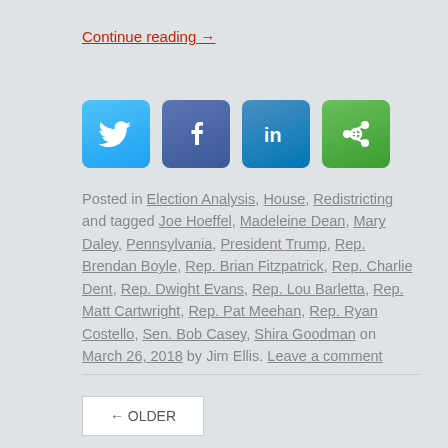Continue reading →
[Figure (infographic): Four social media share buttons: Twitter (blue), Facebook (dark blue), LinkedIn (blue), and a green share button]
Posted in Election Analysis, House, Redistricting and tagged Joe Hoeffel, Madeleine Dean, Mary Daley, Pennsylvania, President Trump, Rep. Brendan Boyle, Rep. Brian Fitzpatrick, Rep. Charlie Dent, Rep. Dwight Evans, Rep. Lou Barletta, Rep. Matt Cartwright, Rep. Pat Meehan, Rep. Ryan Costello, Sen. Bob Casey, Shira Goodman on March 26, 2018 by Jim Ellis. Leave a comment
← OLDER